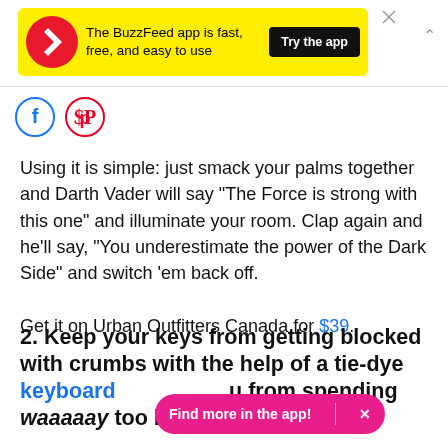[Figure (other): BuzzFeed app advertisement banner in yellow with BuzzFeed logo, text 'The BuzzFeed app is fast, free, and easy to use' and 'Try the app' black button]
[Figure (other): Social share icons: Facebook (blue circle with f) and Pinterest (red circle with P)]
Using it is simple: just smack your palms together and Darth Vader will say "The Force is strong with this one" and illuminate your room. Clap again and he'll say, "You underestimate the power of the Dark Side" and switch 'em back off.

Get it on Urban Outfitters Canada for $39.
2. Keep your keys from getting blocked with crumbs with the help of a tie-dye keyboard u from spending waaaaay too long trying to dig